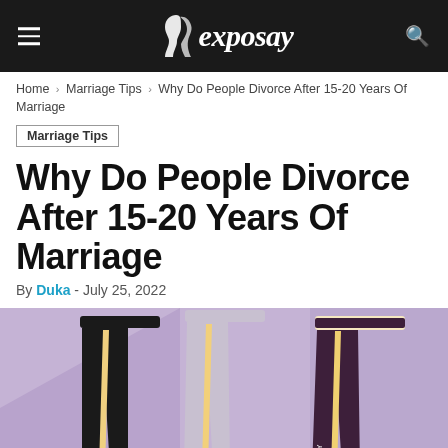exposay
Home › Marriage Tips › Why Do People Divorce After 15-20 Years Of Marriage
Marriage Tips
Why Do People Divorce After 15-20 Years Of Marriage
By Duka - July 25, 2022
[Figure (photo): Three pairs of athletic leggings in black, light purple/gray, and dark purple, each with a yellow stripe down the side, displayed against a purple geometric background.]